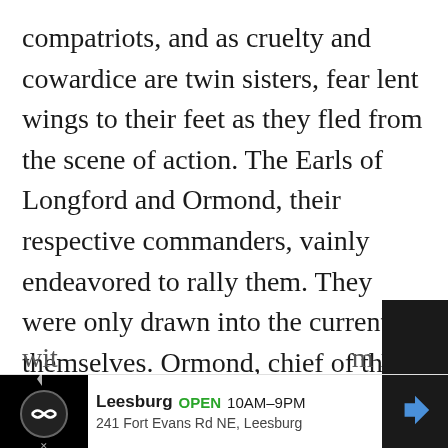compatriots, and as cruelty and cowardice are twin sisters, fear lent wings to their feet as they fled from the scene of action. The Earls of Longford and Ormond, their respective commanders, vainly endeavored to rally them. They were only drawn into the current themselves. Ormond, chief of the historic Butlers of Ireland, young, handsome and brave, a preux chevalier from head to foot, threw himself among his men, in a frenzy of mortification and despair. He implored them impassionately to turn and face the foe. Finding they heeded him not he lost all self-control, and
[Figure (other): Advertisement banner for a local business: Leesburg, OPEN 10AM-9PM, 241 Fort Evans Rd NE, Leesburg. Contains navigation arrow icon on right side.]